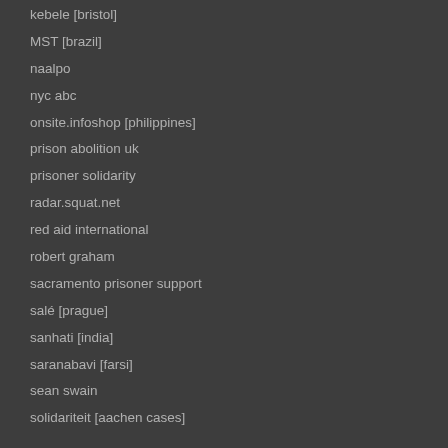kebele [bristol]
MST [brazil]
naalpo
nyc abc
onsite.infoshop [philippines]
prison abolition uk
prisoner solidarity
radar.squat.net
red aid international
robert graham
sacramento prisoner support
salé [prague]
sanhati [india]
saranabavi [farsi]
sean swain
solidariteit [aachen cases]